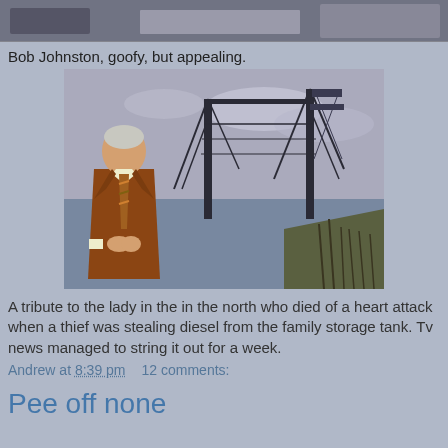[Figure (screenshot): Top partial image showing what appears to be a news studio or broadcast scene, cropped at top]
Bob Johnston, goofy, but appealing.
[Figure (photo): A man in a brown suit and striped tie standing outdoors in front of a large industrial transporter bridge over a river, cloudy sky]
A tribute to the lady in the in the north who died of a heart attack when a thief was stealing diesel from the family storage tank. Tv news managed to string it out for a week.
Andrew at 8:39 pm    12 comments:
Pee off none